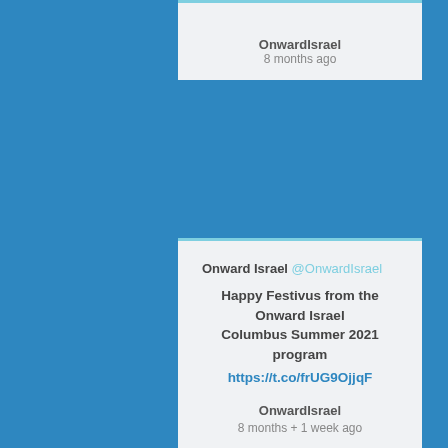OnwardIsrael
8 months ago
Onward Israel @OnwardIsrael
Happy Festivus from the Onward Israel Columbus Summer 2021 program
https://t.co/frUG9OjjqF
OnwardIsrael
8 months + 1 week ago